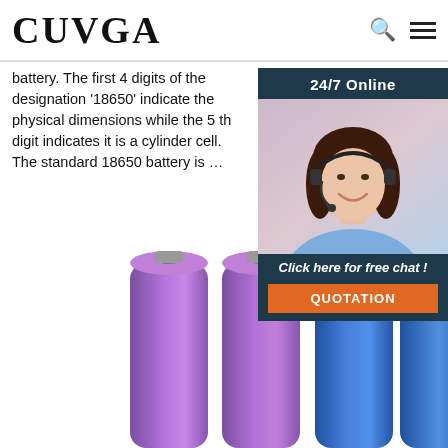CUVGA
battery. The first 4 digits of the designation '18650' indicate the physical dimensions while the 5 th digit indicates it is a cylinder cell. The standard 18650 battery is …
Get Price
[Figure (photo): Chat widget with '24/7 Online' header, photo of a smiling woman with headset, 'Click here for free chat!' text, and QUOTATION button]
[Figure (photo): Four cylindrical 18650 batteries, two purple on the left and two blue on the right, viewed from a low angle showing their tops]